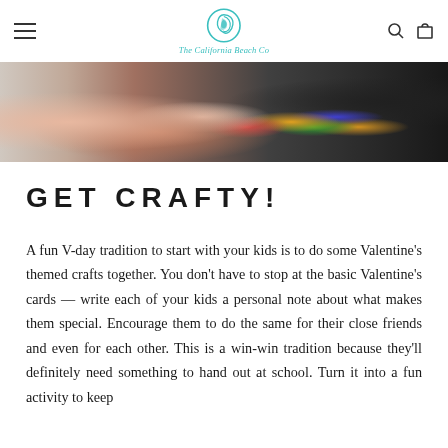[Figure (logo): The California Beach Co logo — teal circular wave/mermaid icon above italic teal script text reading 'The California Beach Co']
[Figure (photo): A child playing with colorful wooden blocks and toys on the floor, partial view of an adult nearby, pink and dark background tones]
GET CRAFTY!
A fun V-day tradition to start with your kids is to do some Valentine's themed crafts together. You don't have to stop at the basic Valentine's cards — write each of your kids a personal note about what makes them special. Encourage them to do the same for their close friends and even for each other. This is a win-win tradition because they'll definitely need something to hand out at school. Turn it into a fun activity to keep